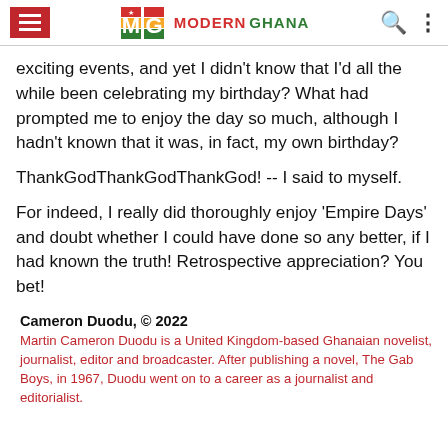Modern Ghana
exciting events, and yet I didn't know that I'd all the while been celebrating my birthday? What had prompted me to enjoy the day so much, although I hadn't known that it was, in fact, my own birthday?
ThankGodThankGodThankGod! -- I said to myself.
For indeed, I really did thoroughly enjoy 'Empire Days' and doubt whether I could have done so any better, if I had known the truth! Retrospective appreciation? You bet!
Cameron Duodu, © 2022
Martin Cameron Duodu is a United Kingdom-based Ghanaian novelist, journalist, editor and broadcaster. After publishing a novel, The Gab Boys, in 1967, Duodu went on to a career as a journalist and editorialist.